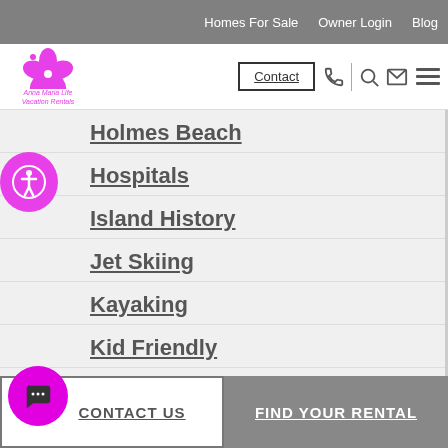Homes For Sale | Owner Login | Blog
[Figure (logo): Anna Maria Life Vacation Rentals logo with pink hibiscus flower]
Holmes Beach
Hospitals
Island History
Jet Skiing
Kayaking
Kid Friendly
Libraries
Local Links
CONTACT US | FIND YOUR RENTAL